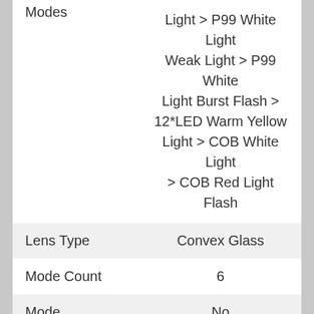|  |  |
| --- | --- |
| Modes | Light > P99 White Light Weak Light > P99 White Light Burst Flash > 12*LED Warm Yellow Light > COB White Light > COB Red Light Flash |
| Lens Type | Convex Glass |
| Mode Count | 6 |
| Mode Memory | No |
| Switch Placement | Side |